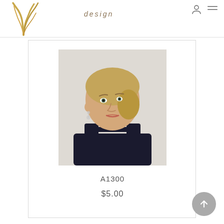design
[Figure (photo): Young female model wearing a black choker necklace and black sleeveless top, shown from shoulders up, looking slightly to the right]
A1300
$5.00